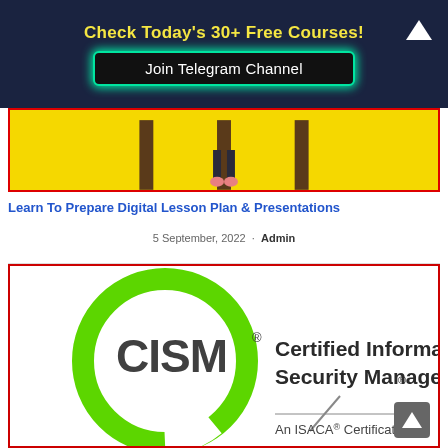Check Today's 30+ Free Courses!
Join Telegram Channel
[Figure (illustration): Yellow background banner image with a figure standing between vertical bars, wearing pink shoes]
Learn To Prepare Digital Lesson Plan & Presentations
5 September, 2022 · Admin
[Figure (logo): CISM Certified Information Security Manager logo — green circle, CISM text, tagline 'An ISACA Certification']